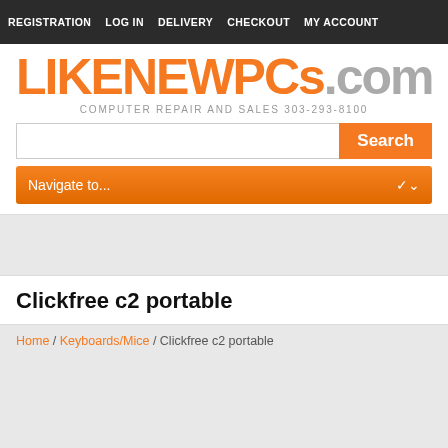REGISTRATION  LOG IN  DELIVERY  CHECKOUT  MY ACCOUNT
[Figure (logo): LIKENEWPCs.com logo in orange and gray]
COMPUTER REPAIR AND SALES 303-293-8100
Search
Navigate to...
Clickfree c2 portable
Home / Keyboards/Mice / Clickfree c2 portable